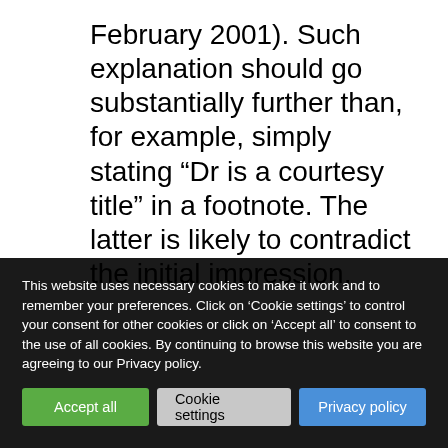February 2001). Such explanation should go substantially further than, for example, simply stating “Dr is a courtesy title” in a footnote. The latter is likely to contradict the initial impression,
This website uses necessary cookies to make it work and to remember your preferences. Click on ‘Cookie settings’ to control your consent for other cookies or click on ‘Accept all’ to consent to the use of all cookies. By continuing to browse this website you are agreeing to our Privacy policy.